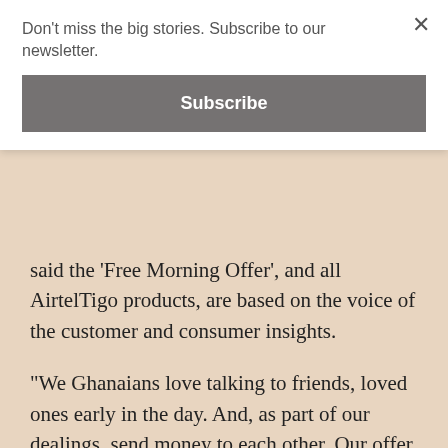Don't miss the big stories. Subscribe to our newsletter.
Subscribe
said the ‘Free Morning Offer’, and all AirtelTigo products, are based on the voice of the customer and consumer insights.
“We Ghanaians love talking to friends, loved ones early in the day. And, as part of our dealings, send money to each other. Our offer has been made based on this simple yet compelling insight,” he said.
“Delighting customers is an obsession for us. By making it absolutely easy for them to have unlimited conversations every morning and free